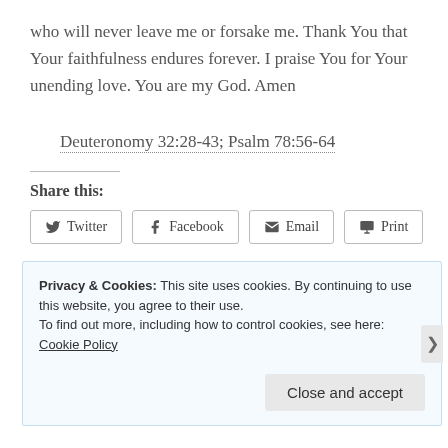who will never leave me or forsake me. Thank You that Your faithfulness endures forever. I praise You for Your unending love. You are my God. Amen
Deuteronomy 32:28-43; Psalm 78:56-64
Share this:
Twitter Facebook Email Print
Loading...
Privacy & Cookies: This site uses cookies. By continuing to use this website, you agree to their use. To find out more, including how to control cookies, see here: Cookie Policy
Close and accept